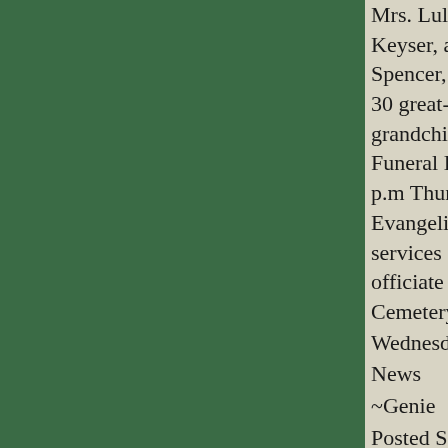Mrs. Lula Preston, Barton; Mrs. S Keyser, and Mrs. Hazel Green a Spencer, both of RD 1; 10 grand 30 great-grandchildren and two g grandchildren. The body is at the Funeral Home and will remain th p.m Thursday when it will be take Evangelical United Brethren Chu services at 3 p.m. Rev. Joseph G officiate and interment will be in Cemetery.
Wednesday, March 27, 1963; The Cumb News
~Genie
Posted September 6, 2019
UTTERBACK, Mrs. Gertrude *E
Mrs. Floyd R. Utterback, of Mour Park, Md., died Sunday morning Hospital, Baltlimore, Md., after a months. Immediate survivors inc husband; one son, Robert Uttork